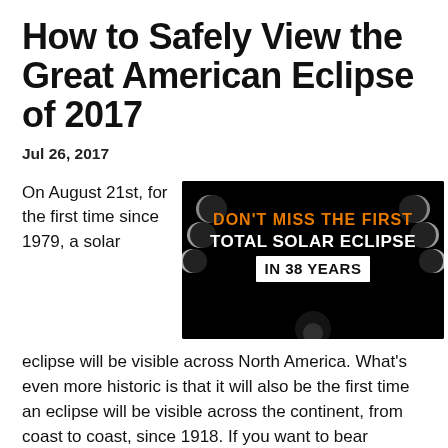How to Safely View the Great American Eclipse of 2017
Jul 26, 2017
On August 21st, for the first time since 1979, a solar eclipse will be visible across North America. What's even more historic is that it will also be the first time an eclipse will be visible across the continent, from coast to coast, since 1918. If you want to bear witness to this historic event, it is important to do so safely which means being knowledgeable about the event and prepared to protect your eyes from
[Figure (infographic): Dark advertisement banner with moon phases and solar eclipse imagery. Text reads: DON'T MISS THE FIRST TOTAL SOLAR ECLIPSE IN 38 YEARS. Orange and white text on black background with glowing corona at bottom.]